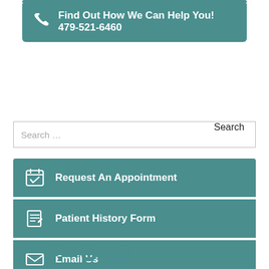Find Out How We Can Help You! 479-521-6460
Search ...
Request An Appointment
Patient History Form
Email Us
[Figure (infographic): Social media icons: Facebook, Yelp, Google, Twitter in teal color]